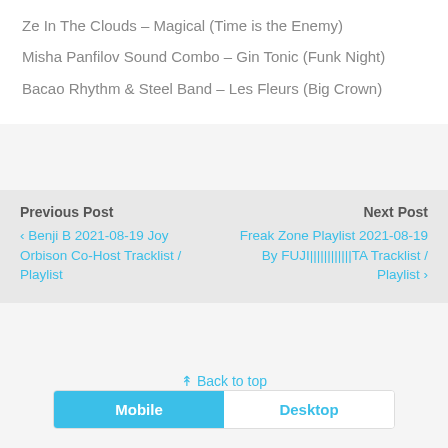Ze In The Clouds – Magical (Time is the Enemy)
Misha Panfilov Sound Combo – Gin Tonic (Funk Night)
Bacao Rhythm & Steel Band – Les Fleurs (Big Crown)
Previous Post
‹ Benji B 2021-08-19 Joy Orbison Co-Host Tracklist / Playlist
Next Post
Freak Zone Playlist 2021-08-19 By FUJI||||||||||||TA Tracklist / Playlist ›
⇑ Back to top
Mobile   Desktop